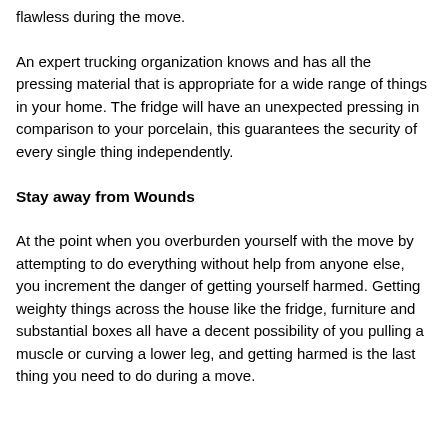flawless during the move.
An expert trucking organization knows and has all the pressing material that is appropriate for a wide range of things in your home. The fridge will have an unexpected pressing in comparison to your porcelain, this guarantees the security of every single thing independently.
Stay away from Wounds
At the point when you overburden yourself with the move by attempting to do everything without help from anyone else, you increment the danger of getting yourself harmed. Getting weighty things across the house like the fridge, furniture and substantial boxes all have a decent possibility of you pulling a muscle or curving a lower leg, and getting harmed is the last thing you need to do during a move.